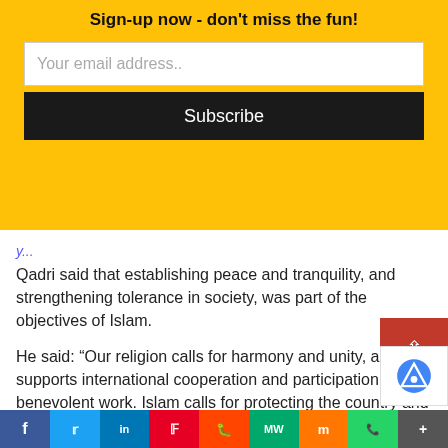Sign-up now - don't miss the fun!
Your email address..
Subscribe
Qadri said that establishing peace and tranquility, and strengthening tolerance in society, was part of the objectives of Islam.
He said: “Our religion calls for harmony and unity, and supports international cooperation and participation in all benevolent work. Islam calls for protecting the country and encourages development and prosperity, and orders boosting peace and avoiding riots.”
The Kingdom and Pakistan had always played an active role in seeking peace in Afghanistan, he said.
Ahmed Javed Mujadadi, Afghanistan’s ambassador t
f  t  in  P  r  MW  m  WhatsApp  More